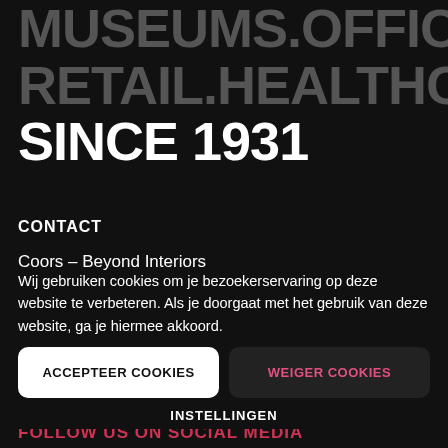MUSEUMS.OFFICES.
RETAIL.HEALTHCARE.
SINCE 1931
CONTACT
Coors – Beyond Interiors
Nikkelstraat 17
Wij gebruiken cookies om je bezoekerservaring op deze website te verbeteren. Als je doorgaat met het gebruik van deze website, ga je hiermee akkoord.
ACCEPTEER COOKIES
WEIGER COOKIES
INSTELLINGEN
T: 0180 202 990
E: info
FOLLOW US ON SOCIAL MEDIA